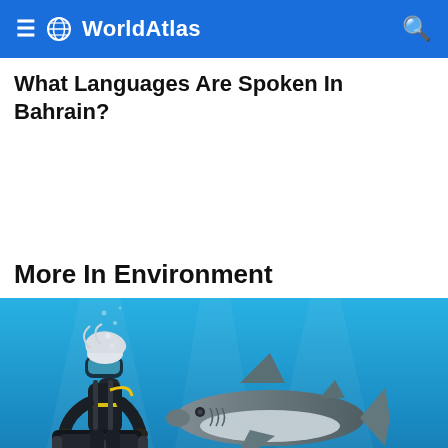WorldAtlas
What Languages Are Spoken In Bahrain?
More In Environment
[Figure (photo): An underwater photograph of a scuba diver in a black wetsuit holding an underwater camera, photographing a large shark at close range on a sandy ocean floor with blue water.]